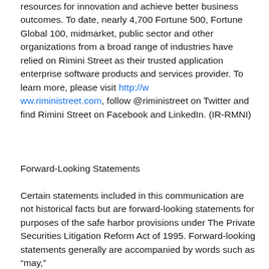resources for innovation and achieve better business outcomes. To date, nearly 4,700 Fortune 500, Fortune Global 100, midmarket, public sector and other organizations from a broad range of industries have relied on Rimini Street as their trusted application enterprise software products and services provider. To learn more, please visit http://www.riministreet.com, follow @riministreet on Twitter and find Rimini Street on Facebook and LinkedIn. (IR-RMNI)
Forward-Looking Statements
Certain statements included in this communication are not historical facts but are forward-looking statements for purposes of the safe harbor provisions under The Private Securities Litigation Reform Act of 1995. Forward-looking statements generally are accompanied by words such as “may,”